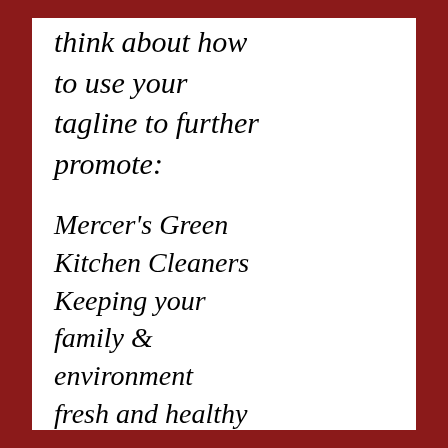think about how to use your tagline to further promote:
Mercer's Green Kitchen Cleaners Keeping your family & environment fresh and healthy
Four. Identify everything you produce with